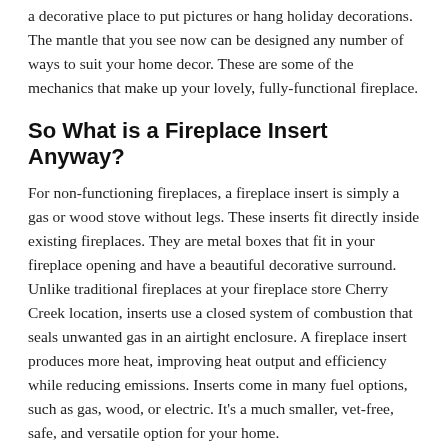a decorative place to put pictures or hang holiday decorations. The mantle that you see now can be designed any number of ways to suit your home decor. These are some of the mechanics that make up your lovely, fully-functional fireplace.
So What is a Fireplace Insert Anyway?
For non-functioning fireplaces, a fireplace insert is simply a gas or wood stove without legs. These inserts fit directly inside existing fireplaces. They are metal boxes that fit in your fireplace opening and have a beautiful decorative surround. Unlike traditional fireplaces at your fireplace store Cherry Creek location, inserts use a closed system of combustion that seals unwanted gas in an airtight enclosure. A fireplace insert produces more heat, improving heat output and efficiency while reducing emissions. Inserts come in many fuel options, such as gas, wood, or electric. It's a much smaller, vet-free, safe, and versatile option for your home.
Do I Need a Fireplace or a Fireplace Insert?